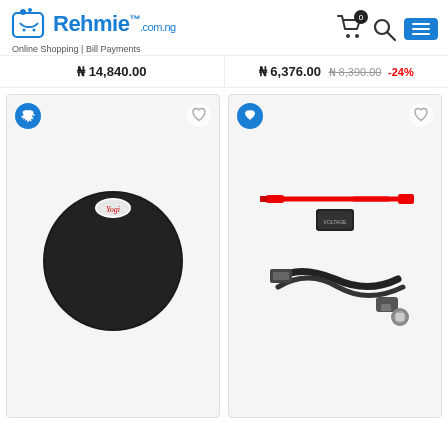Rehmie.com.ng Online Shopping | Bill Payments
₦ 14,840.00
₦ 6,376.00 ₦ 8,390.00 -24%
[Figure (photo): Black circular wireless charging pad with a small branded logo at the top, shown on a light grey background with a plane icon badge and heart icon]
[Figure (photo): Car dashcam hardwire kit with red and black cables, a voltage regulator module, a fuse connector, and a mini/micro USB adapter, shown on a light grey background with a plane icon badge and heart icon]